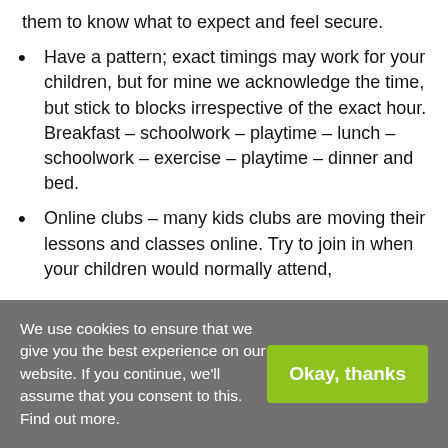children a predictable structure to their day helps them to know what to expect and feel secure.
Have a pattern; exact timings may work for your children, but for mine we acknowledge the time, but stick to blocks irrespective of the exact hour. Breakfast – schoolwork – playtime – lunch – schoolwork – exercise – playtime – dinner and bed.
Online clubs – many kids clubs are moving their lessons and classes online. Try to join in when your children would normally attend,
We use cookies to ensure that we give you the best experience on our website. If you continue, we'll assume that you consent to this. Find out more.
Okay, thanks